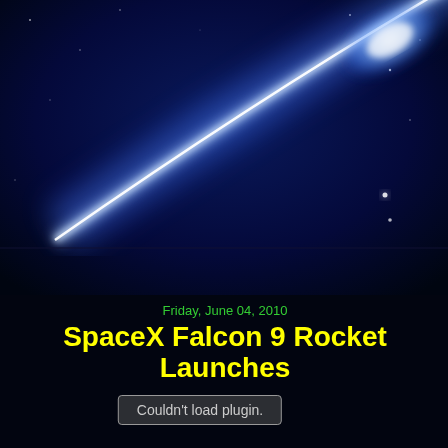[Figure (photo): Dark blue space background with bright white-blue rocket trail or comet streak cutting diagonally across the upper portion of the image]
Friday, June 04, 2010
SpaceX Falcon 9 Rocket Launches
Couldn't load plugin.